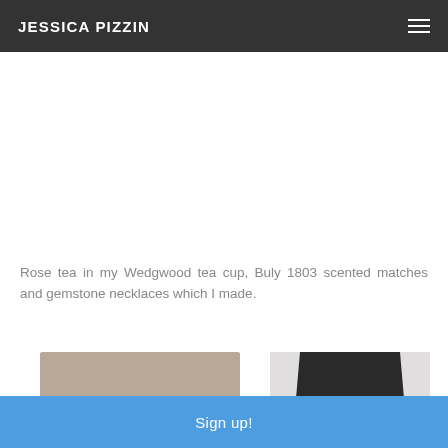JESSICA PIZZIN
Rose tea in my Wedgwood tea cup, Buly 1803 scented matches and gemstone necklaces which I made.
[Figure (photo): Partial view of two product/fashion images at bottom of page — a shoe/flat on left and a black camisole top on a mannequin on right]
Sign up!